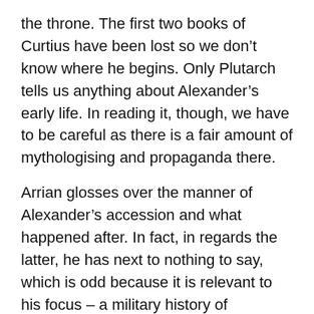the throne. The first two books of Curtius have been lost so we don't know where he begins. Only Plutarch tells us anything about Alexander's early life. In reading it, though, we have to be careful as there is a fair amount of mythologising and propaganda there.
Arrian glosses over the manner of Alexander's accession and what happened after. In fact, in regards the latter, he has next to nothing to say, which is odd because it is relevant to his focus – a military history of Alexander's life. For more information, we have to turn to Diodorus.
By the way, Diodorus gives us the first opportunity to ask which of the sources might be more accurate. Diodorus says that when Alexander became king Evaenetus was archon of Athens while Arrian says it was Pythdelus – who is right? Or are these two names for one man?